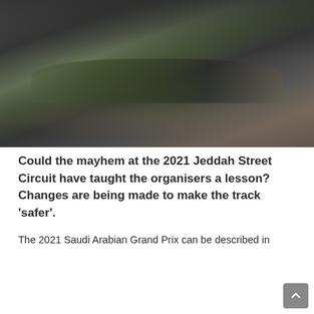[Figure (photo): Blurred photograph of a Formula 1 racing car on a street circuit track, viewed from behind/side angle. Dark and blurred image showing the car on track with barriers visible.]
Could the mayhem at the 2021 Jeddah Street Circuit have taught the organisers a lesson? Changes are being made to make the track 'safer'.
The 2021 Saudi Arabian Grand Prix can be described in